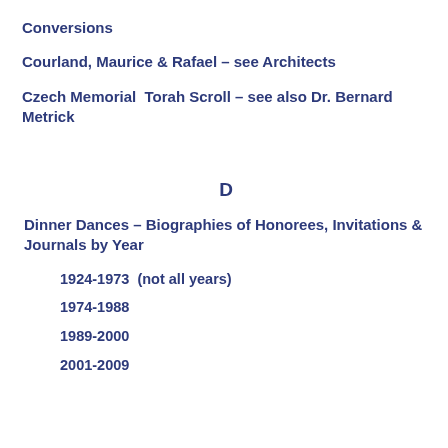Conversions
Courland, Maurice & Rafael – see Architects
Czech Memorial  Torah Scroll – see also Dr. Bernard Metrick
D
Dinner Dances – Biographies of Honorees, Invitations & Journals by Year
1924-1973  (not all years)
1974-1988
1989-2000
2001-2009